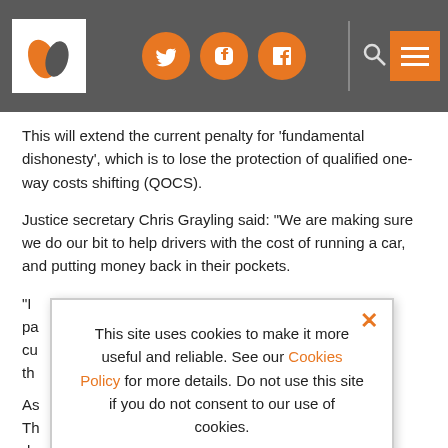[Figure (logo): Website header with logo (leaf/feather icon), social media icons (Twitter, LinkedIn, Facebook), search icon, and menu button on dark grey background]
This will extend the current penalty for ‘fundamental dishonesty’, which is to lose the protection of qualified one-way costs shifting (QOCS).
Justice secretary Chris Grayling said: “We are making sure we do our bit to help drivers with the cost of running a car, and putting money back in their pockets.
“I... pa... cu... th...
As... Th... de... cu... W... w...
This site uses cookies to make it more useful and reliable. See our Cookies Policy for more details. Do not use this site if you do not consent to our use of cookies.
I CONSENT
SEE COOKIE POLICY